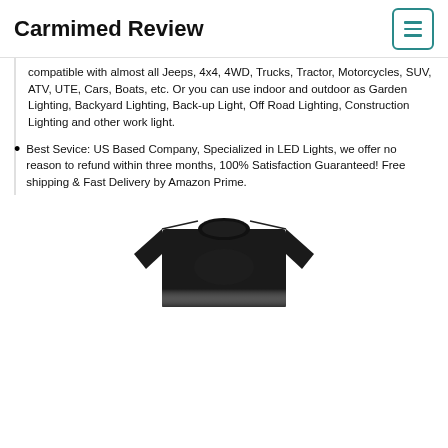Carmimed Review
compatible with almost all Jeeps, 4x4, 4WD, Trucks, Tractor, Motorcycles, SUV, ATV, UTE, Cars, Boats, etc. Or you can use indoor and outdoor as Garden Lighting, Backyard Lighting, Back-up Light, Off Road Lighting, Construction Lighting and other work light.
Best Sevice: US Based Company, Specialized in LED Lights, we offer no reason to refund within three months, 100% Satisfaction Guaranteed! Free shipping & Fast Delivery by Amazon Prime.
[Figure (photo): Black long-sleeve t-shirt product photo, showing the upper torso portion of a dark crew-neck shirt]